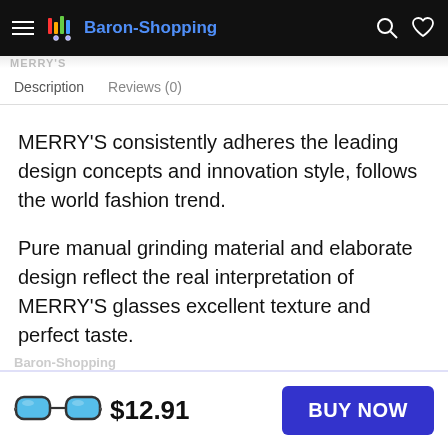Baron-Shopping
Description   Reviews (0)
MERRY'S consistently adheres the leading design concepts and innovation style, follows the world fashion trend.
Pure manual grinding material and elaborate design reflect the real interpretation of MERRY'S glasses excellent texture and perfect taste.
show different, excellence, elegant and noble
$12.91   BUY NOW